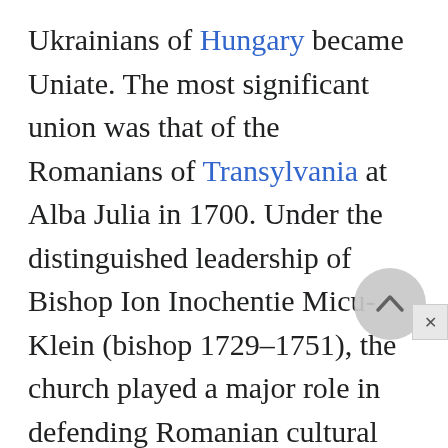Ukrainians of Hungary became Uniate. The most significant union was that of the Romanians of Transylvania at Alba Julia in 1700. Under the distinguished leadership of Bishop Ion Inochentie Micu-Klein (bishop 1729–1751), the church played a major role in defending Romanian cultural and political rights. Not all Transylvanians accepted the union, and Maria Theresa (ruled 1740–1780) was forced to permit them to have their own bishop in 1759.